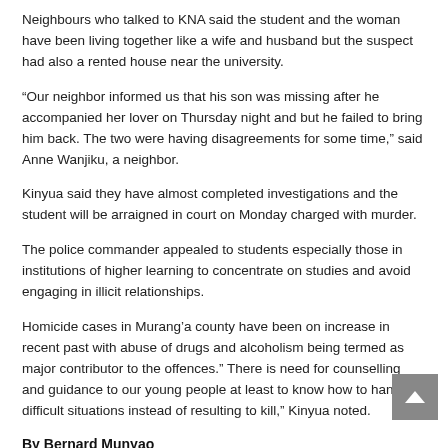Neighbours who talked to KNA said the student and the woman have been living together like a wife and husband but the suspect had also a rented house near the university.
“Our neighbor informed us that his son was missing after he accompanied her lover on Thursday night and but he failed to bring him back. The two were having disagreements for some time,” said Anne Wanjiku, a neighbor.
Kinyua said they have almost completed investigations and the student will be arraigned in court on Monday charged with murder.
The police commander appealed to students especially those in institutions of higher learning to concentrate on studies and avoid engaging in illicit relationships.
Homicide cases in Murang’a county have been on increase in recent past with abuse of drugs and alcoholism being termed as major contributor to the offences.” There is need for counselling and guidance to our young people at least to know how to handle difficult situations instead of resulting to kill,” Kinyua noted.
By Bernard Munyao